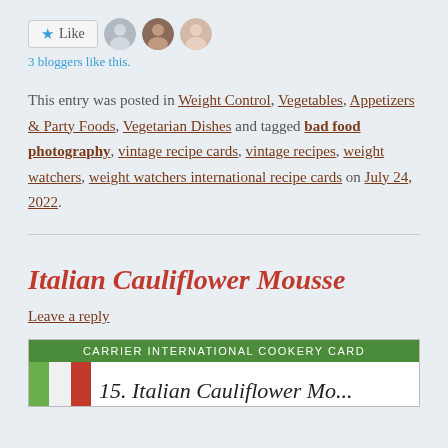[Figure (other): Like button with star icon and three blogger avatar images]
3 bloggers like this.
This entry was posted in Weight Control, Vegetables, Appetizers & Party Foods, Vegetarian Dishes and tagged bad food photography, vintage recipe cards, vintage recipes, weight watchers, weight watchers international recipe cards on July 24, 2022.
Italian Cauliflower Mousse
Leave a reply
[Figure (photo): Carrier International Cookery Card header showing a card with Italian flag and title '15. Italian Cauliflower Mo...']